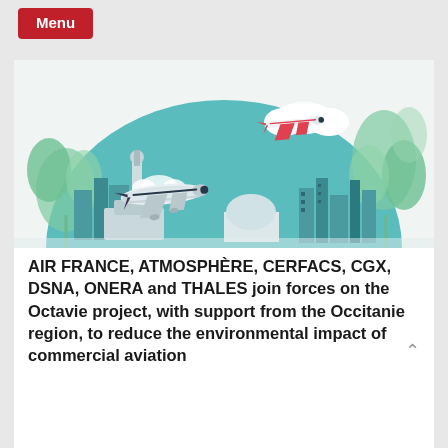Menu
[Figure (illustration): Illustration of aviation and sustainability: two commercial airplanes flying over a city skyline with a control tower, green foliage, and a large teal semicircle background representing the globe. Clouds are visible in the sky.]
AIR FRANCE, ATMOSPHÈRE, CERFACS, CGX, DSNA, ONERA and THALES join forces on the Octavie project, with support from the Occitanie region, to reduce the environmental impact of commercial aviation
The air transport industry is fully cognizant of its impact on the environment and has undertaken to achieve net zero carbon